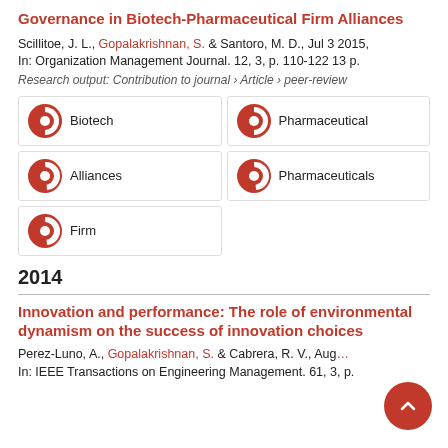Governance in Biotech-Pharmaceutical Firm Alliances
Scillitoe, J. L., Gopalakrishnan, S. & Santoro, M. D., Jul 3 2015, In: Organization Management Journal. 12, 3, p. 110-122 13 p.
Research output: Contribution to journal › Article › peer-review
Biotech
Pharmaceutical
Alliances
Pharmaceuticals
Firm
2014
Innovation and performance: The role of environmental dynamism on the success of innovation choices
Perez-Luno, A., Gopalakrishnan, S. & Cabrera, R. V., Aug..., In: IEEE Transactions on Engineering Management. 61, 3, p. ...